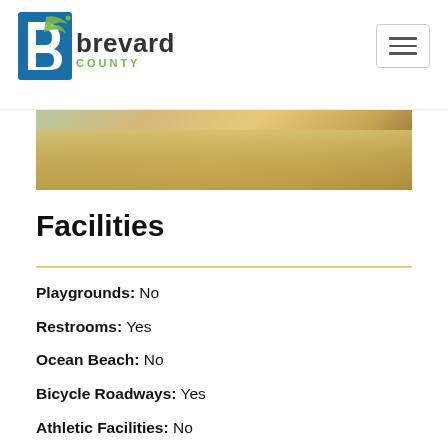Brevard County
[Figure (photo): Interior room with wood flooring visible, partial view of furniture]
Facilities
Playgrounds: No
Restrooms: Yes
Ocean Beach: No
Bicycle Roadways: Yes
Athletic Facilities: No
Nature Trails / Centers: Yes (Civil Rights Trail)